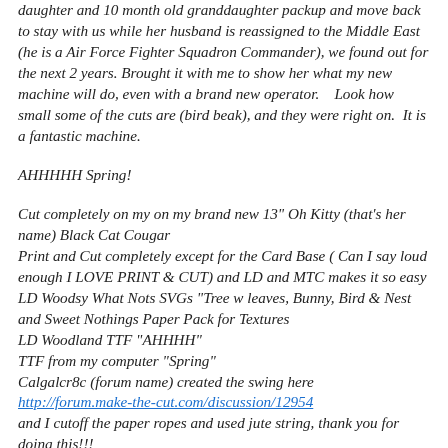daughter and 10 month old granddaughter packup and move back to stay with us while her husband is reassigned to the Middle East (he is a Air Force Fighter Squadron Commander), we found out for the next 2 years. Brought it with me to show her what my new machine will do, even with a brand new operator.   Look how small some of the cuts are (bird beak), and they were right on.  It is a fantastic machine.
AHHHHH Spring!
Cut completely on my on my brand new 13" Oh Kitty (that's her name) Black Cat Cougar
Print and Cut completely except for the Card Base ( Can I say loud enough I LOVE PRINT & CUT) and LD and MTC makes it so easy
LD Woodsy What Nots SVGs "Tree w leaves, Bunny, Bird & Nest and Sweet Nothings Paper Pack for Textures
LD Woodland TTF "AHHHH"
TTF from my computer "Spring"
Calgalcr8c (forum name) created the swing here
http://forum.make-the-cut.com/discussion/12954
and I cutoff the paper ropes and used jute string, thank you for doing this!!!